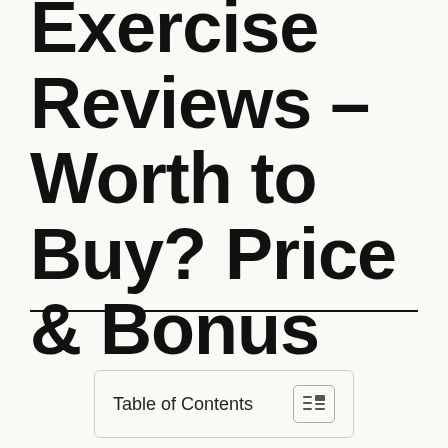Exercise Reviews – Worth to Buy? Price & Bonus
Table of Contents